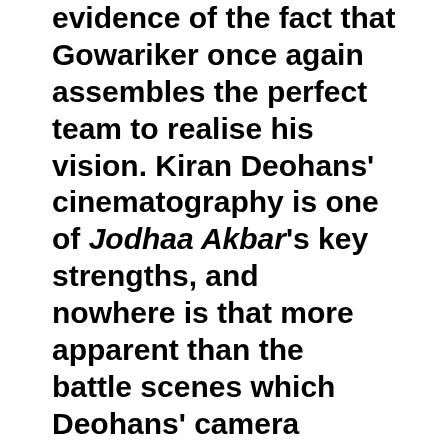evidence of the fact that Gowariker once again assembles the perfect team to realise his vision. Kiran Deohans' cinematography is one of Jodhaa Akbar's key strengths, and nowhere is that more apparent than the battle scenes which Deohans' camera captures gloriously, making you feel like you're right out there where the action is. The visual treatment for the film's songs is another strong element